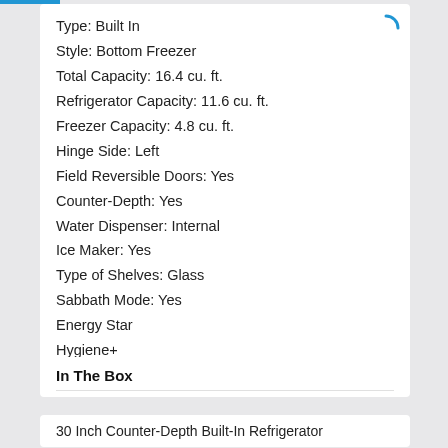Type: Built In
Style: Bottom Freezer
Total Capacity: 16.4 cu. ft.
Refrigerator Capacity: 11.6 cu. ft.
Freezer Capacity: 4.8 cu. ft.
Hinge Side: Left
Field Reversible Doors: Yes
Counter-Depth: Yes
Water Dispenser: Internal
Ice Maker: Yes
Type of Shelves: Glass
Sabbath Mode: Yes
Energy Star
Hygiene+
In The Box
30 Inch Counter-Depth Built-In Refrigerator